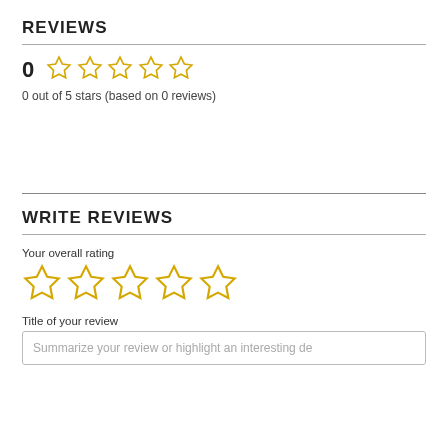REVIEWS
[Figure (other): Star rating display showing 0 out of 5 stars with 5 empty yellow stars]
0 out of 5 stars (based on 0 reviews)
WRITE REVIEWS
Your overall rating
[Figure (other): 5 empty yellow stars for user rating input]
Title of your review
Summarize your review or highlight an interesting de